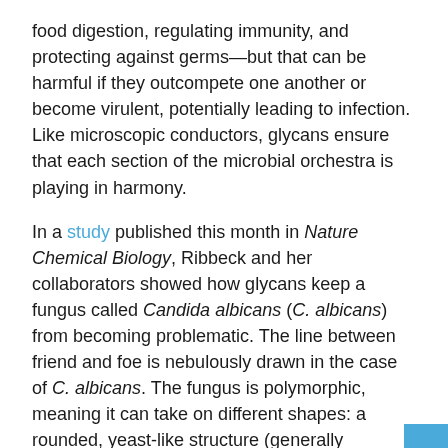food digestion, regulating immunity, and protecting against germs—but that can be harmful if they outcompete one another or become virulent, potentially leading to infection. Like microscopic conductors, glycans ensure that each section of the microbial orchestra is playing in harmony.
In a study published this month in Nature Chemical Biology, Ribbeck and her collaborators showed how glycans keep a fungus called Candida albicans (C. albicans) from becoming problematic. The line between friend and foe is nebulously drawn in the case of C. albicans. The fungus is polymorphic, meaning it can take on different shapes: a rounded, yeast-like structure (generally considered normal) can turn into a filamented, thread-like shape associated with virulence. While the fungus can contribute to immunity, it can also lead to yeast infections or, even more seriously, a systemic infection of the bloodstream.